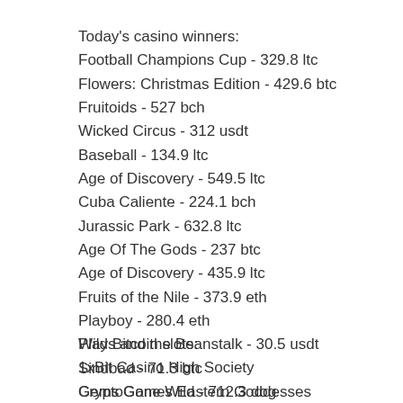Today's casino winners:
Football Champions Cup - 329.8 ltc
Flowers: Christmas Edition - 429.6 btc
Fruitoids - 527 bch
Wicked Circus - 312 usdt
Baseball - 134.9 ltc
Age of Discovery - 549.5 ltc
Cuba Caliente - 224.1 bch
Jurassic Park - 632.8 ltc
Age Of The Gods - 237 btc
Age of Discovery - 435.9 ltc
Fruits of the Nile - 373.9 eth
Playboy - 280.4 eth
Wilds and the Beanstalk - 30.5 usdt
Sindbad - 71.3 btc
Gems Gone Wild - 712.3 dog
Play Bitcoin slots:
1xBit Casino High Society
CryptoGames Eastern Goddesses